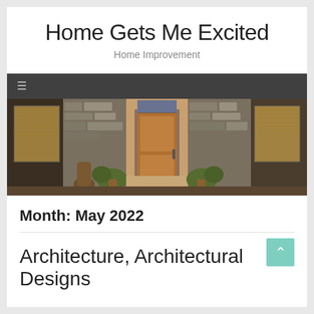Home Gets Me Excited
Home Improvement
[Figure (screenshot): Dark navigation bar with hamburger menu icon (three horizontal lines)]
[Figure (photo): Photo of a modern home entrance with a wooden front door, stone facade, large windows, potted plants, and warm evening lighting]
Month: May 2022
[Figure (other): Teal back-to-top button with upward chevron arrow]
Architecture, Architectural Designs